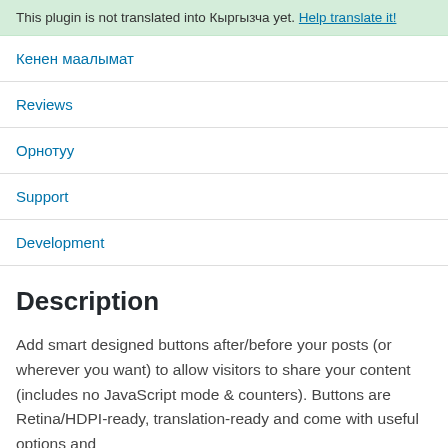This plugin is not translated into Кыргызча yet. Help translate it!
Кенен маалымат
Reviews
Орнотуу
Support
Development
Description
Add smart designed buttons after/before your posts (or wherever you want) to allow visitors to share your content (includes no JavaScript mode & counters). Buttons are Retina/HDPI-ready, translation-ready and come with useful options and